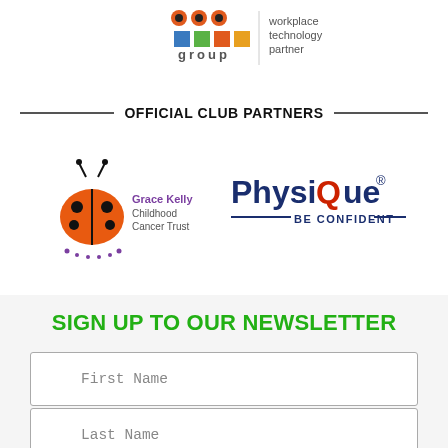[Figure (logo): CCC Group workplace technology partner logo with colored squares (blue, green, orange) and text]
OFFICIAL CLUB PARTNERS
[Figure (logo): Grace Kelly Childhood Cancer Trust logo with ladybird illustration in orange and black]
[Figure (logo): PhysiQue BE CONFIDENT logo in navy blue and red]
SIGN UP TO OUR NEWSLETTER
First Name
Last Name